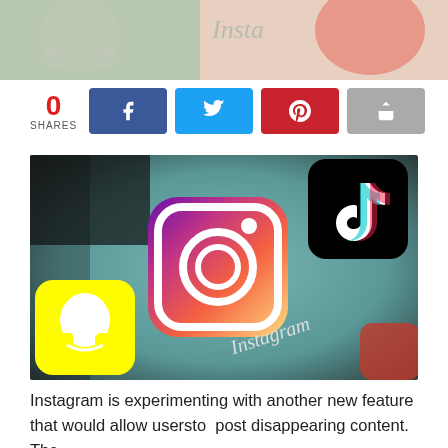[Figure (photo): Cropped top portion of a phone screen showing Instagram and other social media app icons with partial 'Insta' text visible]
[Figure (infographic): Social share bar showing 0 shares count in red, with Facebook (blue), Twitter (light blue), Pinterest (red), and forward/share (gray) buttons]
[Figure (photo): Close-up photo of a smartphone screen showing the Instagram app icon prominently in the center with a colorful gradient background (purple to orange), TikTok icon in top right, Snapchat icon in bottom left, and 'Instagram' text label on the screen]
Instagram is experimenting with another new feature that would allow usersto  post disappearing content. The